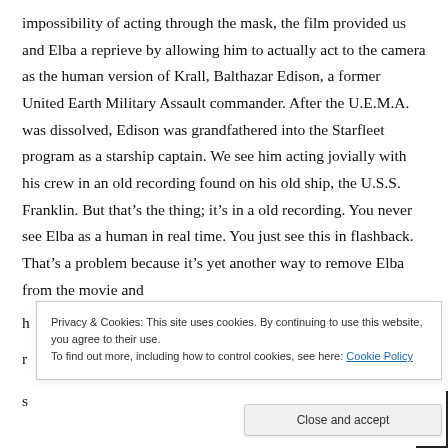impossibility of acting through the mask, the film provided us and Elba a reprieve by allowing him to actually act to the camera as the human version of Krall, Balthazar Edison, a former United Earth Military Assault commander. After the U.E.M.A. was dissolved, Edison was grandfathered into the Starfleet program as a starship captain. We see him acting jovially with his crew in an old recording found on his old ship, the U.S.S. Franklin. But that's the thing; it's in a old recording. You never see Elba as a human in real time. You just see this in flashback. That's a problem because it's yet another way to remove Elba from the movie and h[idden] r[emoved] s[cratched]
Privacy & Cookies: This site uses cookies. By continuing to use this website, you agree to their use.
To find out more, including how to control cookies, see here: Cookie Policy
Close and accept